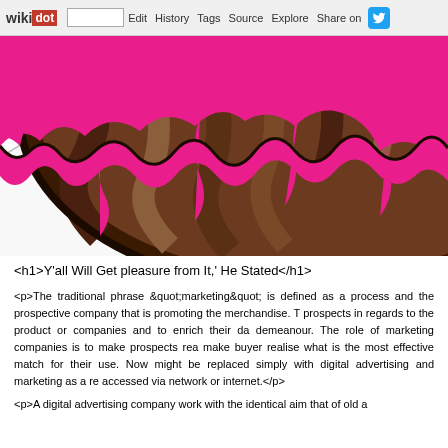wikidot | site Edit History Tags Source Explore Share on [twitter]
[Figure (illustration): Close-up illustration of a donut with pink frosting and chocolate/brown striped top, on a white plate. Only the upper portion of the donut is visible, cropped at the edges.]
<h1>Y'all Will Get pleasure from It,' He Stated</h1>
<p>The traditional phrase &quot;marketing&quot; is defined as a process and the prospective company that is promoting the merchandise. T prospects in regards to the product or companies and to enrich their da demeanour. The role of marketing companies is to make prospects rea make buyer realise what is the most effective match for their use. Now might be replaced simply with digital advertising and marketing as a re accessed via network or internet.</p>
<p>A digital advertising company work with the identical aim that of old a